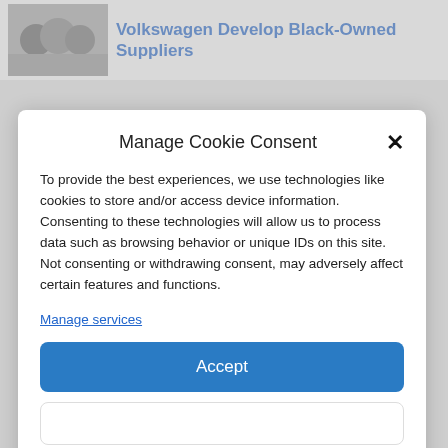Volkswagen Develop Black-Owned Suppliers
Manage Cookie Consent
To provide the best experiences, we use technologies like cookies to store and/or access device information. Consenting to these technologies will allow us to process data such as browsing behavior or unique IDs on this site. Not consenting or withdrawing consent, may adversely affect certain features and functions.
Manage services
Accept
Cookie Policy
Privacy Policy